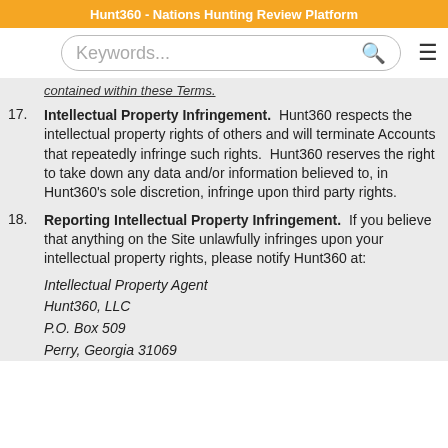Hunt360 - Nations Hunting Review Platform
contained within these Terms.
17. Intellectual Property Infringement. Hunt360 respects the intellectual property rights of others and will terminate Accounts that repeatedly infringe such rights. Hunt360 reserves the right to take down any data and/or information believed to, in Hunt360's sole discretion, infringe upon third party rights.
18. Reporting Intellectual Property Infringement. If you believe that anything on the Site unlawfully infringes upon your intellectual property rights, please notify Hunt360 at:
Intellectual Property Agent
Hunt360, LLC
P.O. Box 509
Perry, Georgia 31069